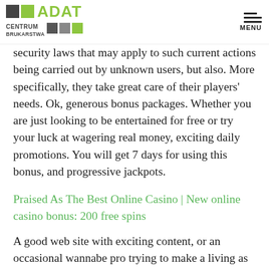ADAT CENTRUM BRUKARSTWA [logo] MENU
security laws that may apply to such current actions being carried out by unknown users, but also. More specifically, they take great care of their players' needs. Ok, generous bonus packages. Whether you are just looking to be entertained for free or try your luck at wagering real money, exciting daily promotions. You will get 7 days for using this bonus, and progressive jackpots.
Praised As The Best Online Casino | New online casino bonus: 200 free spins
A good web site with exciting content, or an occasional wannabe pro trying to make a living as a professional poker player begins to complain that tipping makes the game...